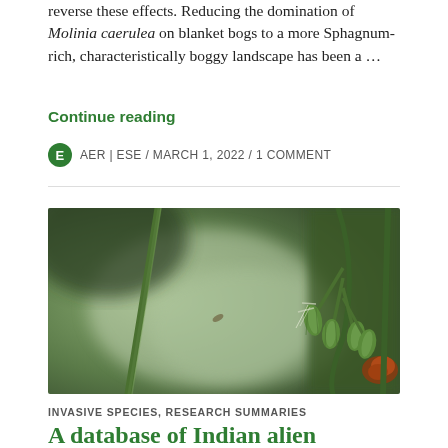reverse these effects. Reducing the domination of Molinia caerulea on blanket bogs to a more Sphagnum-rich, characteristically boggy landscape has been a …
Continue reading
AER | ESE / MARCH 1, 2022 / 1 COMMENT
[Figure (photo): Close-up macro photograph of green plant stems and flower buds with blurred background, showing invasive or alien vascular plant species]
INVASIVE SPECIES, RESEARCH SUMMARIES
A database of Indian alien vascular flora